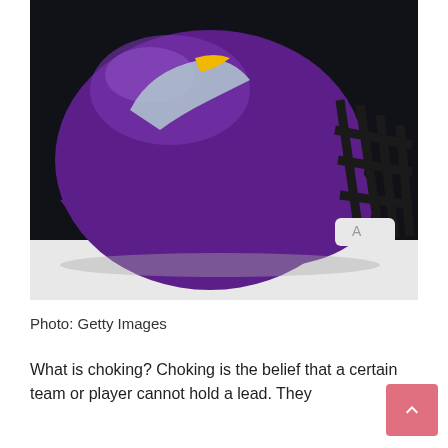[Figure (photo): Minnesota Vikings purple football helmet with black face mask on a white surface against a dark background. The helmet has the Vikings logo (horned face) and a gold stripe.]
Photo: Getty Images
What is choking? Choking is the belief that a certain team or player cannot hold a lead. They